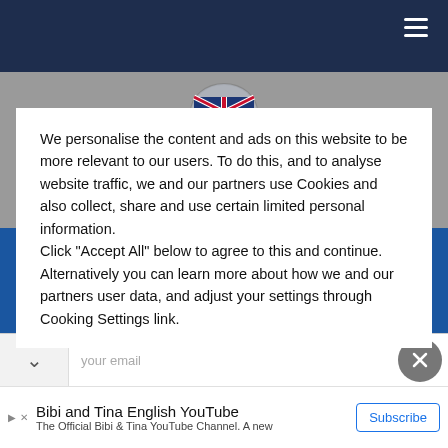[Figure (screenshot): Dark navy top navigation bar with hamburger menu icon on the right]
We personalise the content and ads on this website to be more relevant to our users. To do this, and to analyse website traffic, we and our partners use Cookies and also collect, share and use certain limited personal information. Click "Accept All" below to agree to this and continue. Alternatively you can learn more about how we and our partners user data, and adjust your settings through Cooking Settings link.
Sign up for the weekly British Ice Hockey newsletter now!
Bibi and Tina English YouTube
The Official Bibi & Tina YouTube Channel. A new